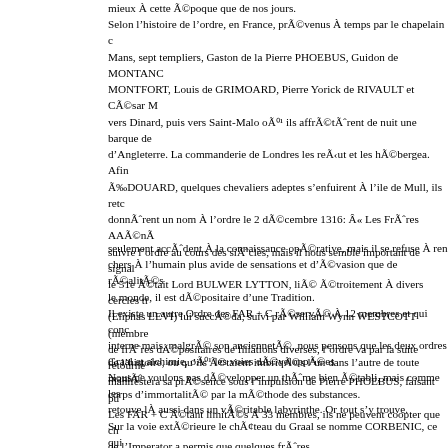mieux à cette époque que de nos jours. Selon l'histoire de l'ordre, en France, prévenus à temps par le chapelain du Mans, sept templiers, Gaston de la Pierre PHOEBUS, Guidon de MONTANC... MONTFORT, Louis de GRIMOARD, Pierre Yorick de RIVAULT et César M... vers Dinard, puis vers Saint-Malo où ils affrétèrent de nuit une barque de d'Angleterre. La commanderie de Londres les reçut et les hébergea. Afin... ÉDOUARD, quelques chevaliers adeptes s'enfuirent à l'ile de Mull, ils retournèrent donnèrent un nom à l'ordre le 2 décembre 1316: « Les Frères Aî...nà... suivre l'ordre au cours des siècles, mais il nous semble important de signal... le 51e était Lord BULWER LYTTON, lié étroitement à divers cercles tr... (Eliphas LEVI) lui succéda, suivi par William Wynn WESTCOTT (membre... de frères dépositaires de filiations diverses, l'ordre va par la suite retourne... manifestera sa présence sous l'impulsion de Pierre PHOEBUS, faisant pu... Les FAR + C étant limités à 33 membres, ils ne peuvent coopter que ch... de l'Imperator a permis que quelques frères
seulement accèdent à la connaissance opérative, mais il se refuse à re... chers à l'humain plus avide de sensations et d'évasion que de réalités... le monde, il est dépositaire d'une Tradition. Il existe un autre Ordre des FAR + C réservé à 12 membres et qui conc... interne mais, malgré son ancienneté, nous pensons que les deux ordres... de l'histoire, ou qu'ils étaient imbriqués l'un dans l'autre de toute manière... corps d'immortalité par la méthode des substances.
Graal et alchimie, où les voies développées
Nous ne voulons pas développer un thème bien établi, mais comme les... retouve là aussi dans un véritable labyrinthe. Or tout s'y trouve. Sur la voie extérieure le château du Graal se nomme CORBENIC, ce qui clairement énoncée que, par exemple, dans les contes d'HOFMANN, qu... célèbre ministre KLEIN ZACH surnommé cinabre, il n'en est pas moins... CORNI-BEC et CINEBRO à l'envers, désignant aussi bien le vaisseau qu... cela dans le nom du père de PERCEVAL, BLIOCADRAN, qui en anagramm...